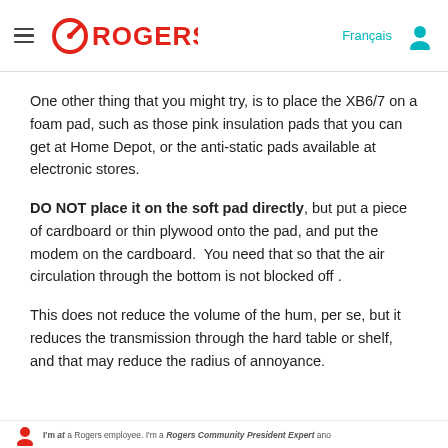Rogers
One other thing that you might try, is to place the XB6/7 on a foam pad, such as those pink insulation pads that you can get at Home Depot, or the anti-static pads available at electronic stores.
DO NOT place it on the soft pad directly, but put a piece of cardboard or thin plywood onto the pad, and put the modem on the cardboard.  You need that so that the air circulation through the bottom is not blocked off .
This does not reduce the volume of the hum, per se, but it reduces the transmission through the hard table or shelf, and that may reduce the radius of annoyance.